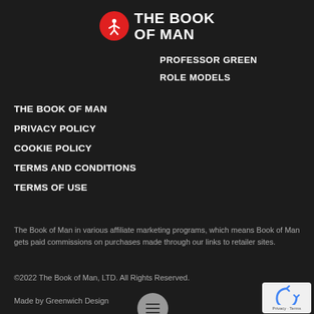[Figure (logo): The Book of Man logo: red circle with white human figure icon, white bold text 'THE BOOK OF MAN']
PROFESSOR GREEN
ROLE MODELS
THE BOOK OF MAN
PRIVACY POLICY
COOKIE POLICY
TERMS AND CONDITIONS
TERMS OF USE
The Book of Man in various affiliate marketing programs, which means Book of Man gets paid commissions on purchases made through our links to retailer sites.
©2022 The Book of Man, LTD. All Rights Reserved.
Made by Greenwich Design